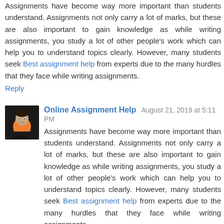Assignments have become way more important than students understand. Assignments not only carry a lot of marks, but these are also important to gain knowledge as while writing assignments, you study a lot of other people's work which can help you to understand topics clearly. However, many students seek Best assignment help from experts due to the many hurdles that they face while writing assignments.
Reply
Online Assignment Help  August 21, 2019 at 5:11 PM
[Figure (photo): Avatar photo of a person wearing an orange accessory against a dark background]
Assignments have become way more important than students understand. Assignments not only carry a lot of marks, but these are also important to gain knowledge as while writing assignments, you study a lot of other people's work which can help you to understand topics clearly. However, many students seek Best assignment help from experts due to the many hurdles that they face while writing assignments.
Reply